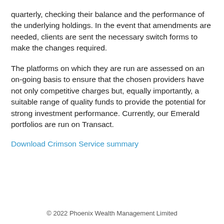quarterly, checking their balance and the performance of the underlying holdings. In the event that amendments are needed, clients are sent the necessary switch forms to make the changes required.
The platforms on which they are run are assessed on an on-going basis to ensure that the chosen providers have not only competitive charges but, equally importantly, a suitable range of quality funds to provide the potential for strong investment performance. Currently, our Emerald portfolios are run on Transact.
Download Crimson Service summary
© 2022 Phoenix Wealth Management Limited